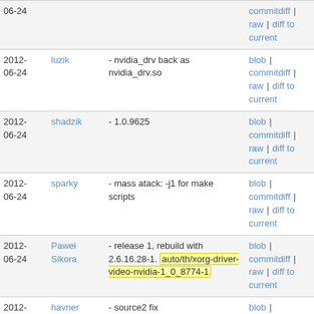| Date | Author | Message | Links |
| --- | --- | --- | --- |
| 2012-06-24 |  |  | commitdiff | raw | diff to current |
| 2012-06-24 | luzik | - nvidia_drv back as nvidia_drv.so | blob | commitdiff | raw | diff to current |
| 2012-06-24 | shadzik | - 1.0.9625 | blob | commitdiff | raw | diff to current |
| 2012-06-24 | sparky | - mass atack: -j1 for make scripts | blob | commitdiff | raw | diff to current |
| 2012-06-24 | Paweł Sikora | - release 1, rebuild with 2.6.16.28-1. auto/th/xorg-driver-video-nvidia-1_0_8774-1 | blob | commitdiff | raw | diff to current |
| 2012-06-24 | havner | - source2 fix | blob | commitdiff | raw | diff to |